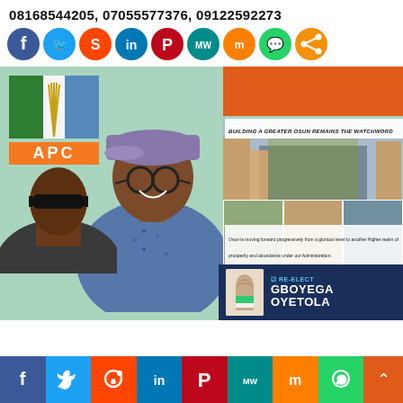08168544205, 07055577376, 09122592273
[Figure (infographic): Row of social media share icons: Facebook, Twitter, Reddit, LinkedIn, Pinterest, MeWe, Mix, WhatsApp, Share]
[Figure (infographic): APC political campaign image showing APC logo/flag, a man wearing cap and glasses smiling, photo collage of development projects, text 'Building a Greater Osun remains the watchword', text about Osun moving forward, and Re-Elect Gboyega Oyetola banner at bottom]
[Figure (infographic): Bottom social media bar with Facebook, Twitter, Reddit, LinkedIn, Pinterest, MeWe, Mix, WhatsApp icons and scroll-up button]